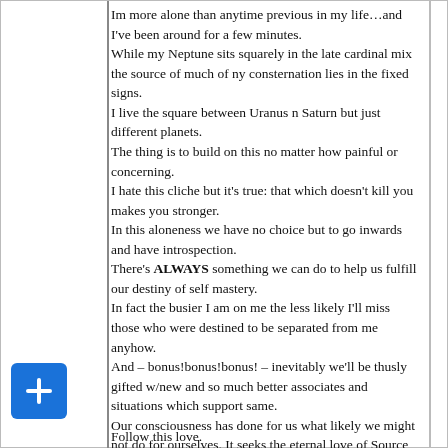Im more alone than anytime previous in my life…and I've been around for a few minutes.
While my Neptune sits squarely in the late cardinal mix the source of much of ny consternation lies in the fixed signs.
I live the square between Uranus n Saturn but just different planets.

The thing is to build on this no matter how painful or concerning.
I hate this cliche but it's true: that which doesn't kill you makes you stronger.
In this aloneness we have no choice but to go inwards and have introspection.
There's ALWAYS something we can do to help us fulfill our destiny of self mastery.
In fact the busier I am on me the less likely I'll miss those who were destined to be separated from me anyhow.
And – bonus!bonus!bonus! – inevitably we'll be thusly gifted w/new and so much better associates and situations which support same.
Our consciousness has done for us what likely we might not do for ourselves. It seeks the eternal love of Source which NEVER leaves us.
Follow this love.